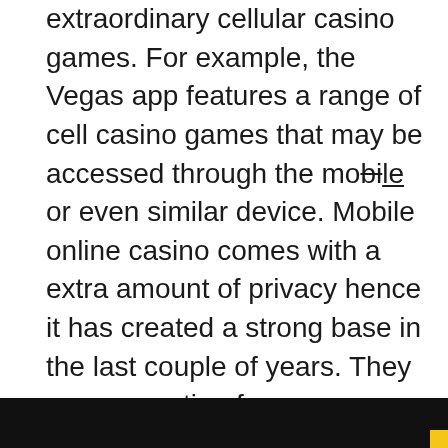extraordinary cellular casino games. For example, the Vegas app features a range of cell casino games that may be accessed through the mobile or even similar device. Mobile online casino comes with a extra amount of privacy hence it has created a strong base in the last couple of years. They use encryption for money deposits and withdrawal hence is extremely secure. They're not only safe but also user-friendly and important. The cell casino is expected to cultivate to include nearly 1.Five million users by the end of the season 2022. The casino mobile apps will provide the user with more number of freshly manufactured video games or the Casino (🎰🎰🎰🎰🎰🎰) new version of the user's preferred game.
[Figure (photo): Dark image strip at the bottom of the page, partially visible, with a yellow corner element at bottom right]